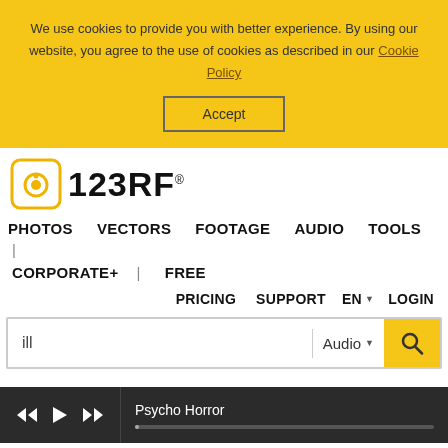We use cookies to provide you with better experience. By using our website, you agree to the use of cookies as described in our Cookie Policy
Accept
[Figure (logo): 123RF logo with camera icon]
PHOTOS  VECTORS  FOOTAGE  AUDIO  TOOLS  |  CORPORATE+  |  FREE
PRICING  SUPPORT  EN  LOGIN
ill  Audio  [search button]
Psycho Horror